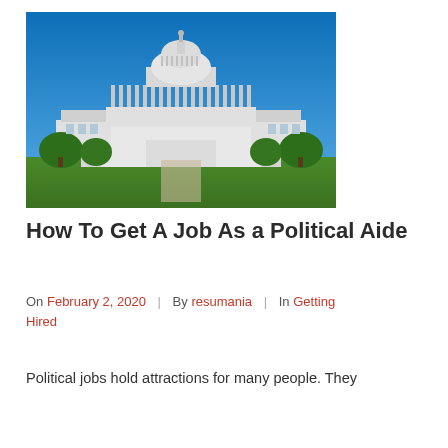[Figure (photo): Photograph of the United States Capitol building under a bright blue sky, with green trees and lawn in the foreground.]
How To Get A Job As a Political Aide
On February 2, 2020 | By resumania | In Getting Hired
Political jobs hold attractions for many people. They